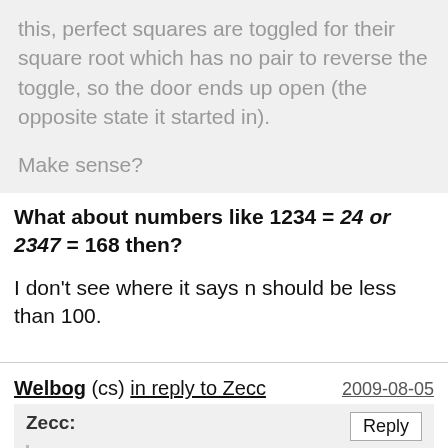this, perfect squares are toggled for their square root which has no pair to reverse the toggle, so the door ends up open (the opposite state it started in).
Make sense?
What about numbers like 1234 = 24 or 2347 = 168 then?
I don't see where it says n should be less than 100.
Welbog (cs) in reply to Zecc   2009-08-05
Zecc:
Welbog: The open lockers are perfect squares. The reasoning is simple: non-perfect